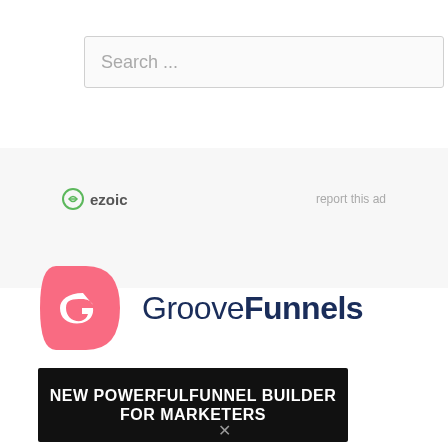[Figure (screenshot): Search bar with placeholder text 'Search ...' on a light gray background]
[Figure (logo): Ezoic logo with green circular icon and 'ezoic' text, alongside 'report this ad' link]
[Figure (logo): GrooveFunnels logo: pink D-shape icon with white G swirl and 'GrooveFunnels' wordmark in navy blue]
[Figure (infographic): Black banner with white bold text: 'NEW POWERFULFUNNEL BUILDER FOR MARKETERS']